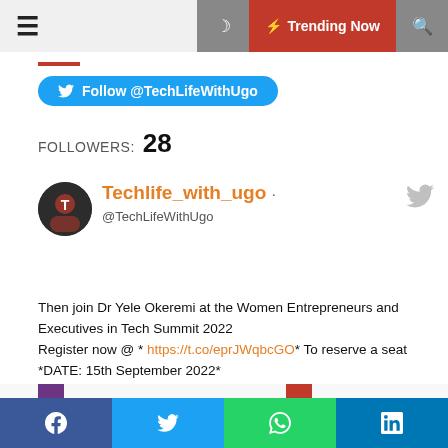☰  🌙  ⚡ Trending Now  🔍
Follow @TechLifeWithUgo
FOLLOWERS: 28
Techlife_with_ugo · @TechLifeWithUgo
Then join Dr Yele Okeremi at the Women Entrepreneurs and Executives in Tech Summit 2022
Register now @ * https://t.co/eprJWqbcGO* To reserve a seat
*DATE: 15th September 2022*
*Time: 10am PROMPT*
*VENUE: Sheraton Hotels Ikeja lagos*
f  🐦  WhatsApp  in